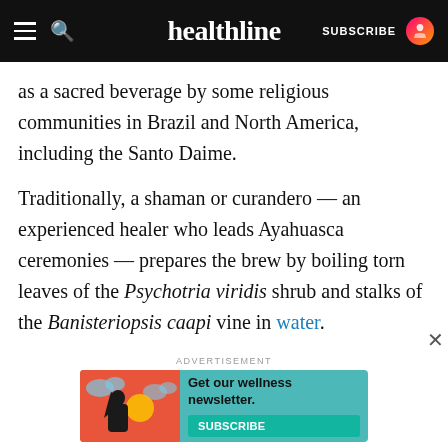healthline — SUBSCRIBE
as a sacred beverage by some religious communities in Brazil and North America, including the Santo Daime.
Traditionally, a shaman or curandero — an experienced healer who leads Ayahuasca ceremonies — prepares the brew by boiling torn leaves of the Psychotria viridis shrub and stalks of the Banisteriopsis caapi vine in water.
The Banisteriopsis caapi vine is cleaned and smashed before being boiled to increase the extraction of its medicinal compounds.
[Figure (infographic): Advertisement banner with illustration of a woman and teal background. Text reads 'Get our wellness newsletter.' with a SUBSCRIBE button.]